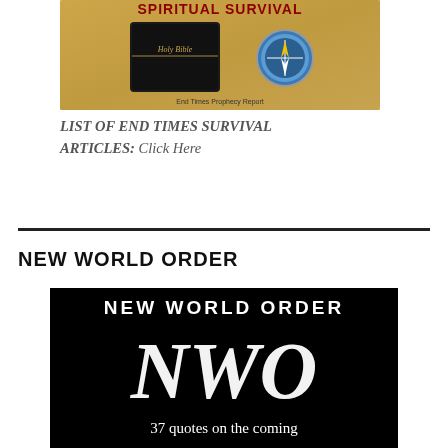[Figure (illustration): Book cover image showing a Holy Bible and a compass on a golden/brown background with text 'Spiritual Survival' and 'End Times Prophecy Report' at the bottom]
LIST OF END TIMES SURVIVAL ARTICLES: Click Here
NEW WORLD ORDER
[Figure (illustration): Black background image with white text 'NEW WORLD ORDER' at top, large stylized white 'NWO' lettering in the center, and text '37 quotes on the coming' at the bottom]